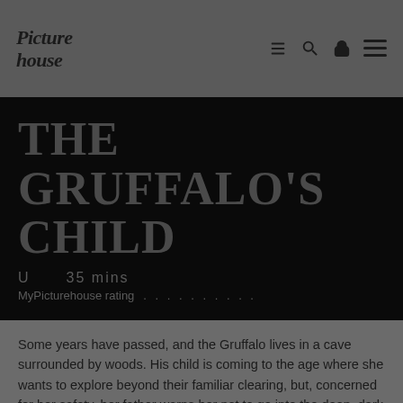Picture house
THE GRUFFALO'S CHILD
U   35 mins
MyPicturehouse rating . . . . . . . . . .
Some years have passed, and the Gruffalo lives in a cave surrounded by woods. His child is coming to the age where she wants to explore beyond their familiar clearing, but, concerned for her safety, her father warns her not to go into the deep, dark woods. If she does, the Big Bad Mouse will be after her.